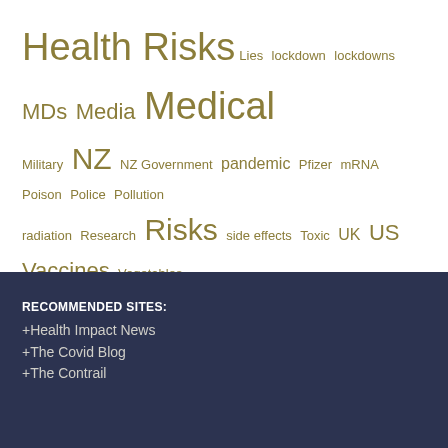[Figure (infographic): Tag cloud with health-related terms in varying sizes, colored in olive/gold: Health Risks, Lies, lockdown, lockdowns, MDs, Media, Medical, Military, NZ, NZ Government, pandemic, Pfizer, mRNA, Poison, Police, Pollution, radiation, Research, Risks, side effects, Toxic, UK, US, Vaccines, Vegetables, Water, WHO]
RANGITIKEI ENVIRONMENTAL HEALTH WATCH
RECOMMENDED SITES:
+Health Impact News
+The Covid Blog
+The Contrail